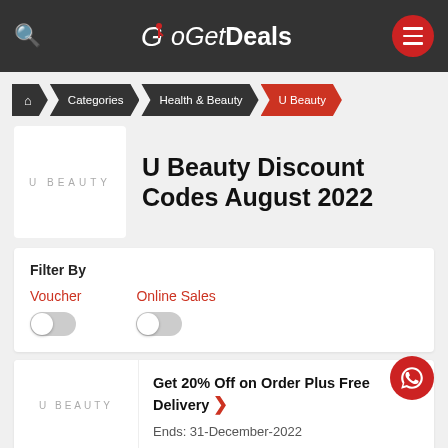GoGetDeals
Home > Categories > Health & Beauty > U Beauty
U Beauty Discount Codes August 2022
Filter By
Voucher
Online Sales
Get 20% Off on Order Plus Free Delivery
Ends: 31-December-2022